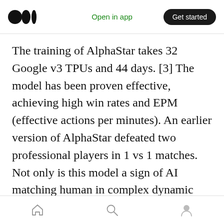Medium logo | Open in app | Get started
The training of AlphaStar takes 32 Google v3 TPUs and 44 days. [3] The model has been proven effective, achieving high win rates and EPM (effective actions per minutes). An earlier version of AlphaStar defeated two professional players in 1 vs 1 matches. Not only is this model a sign of AI matching human in complex dynamic tasks, but it also shows a future for training AIs on large action space through a long time period. In addition to that, the use of multi-agent reinforcement learning and
Home | Search | Profile